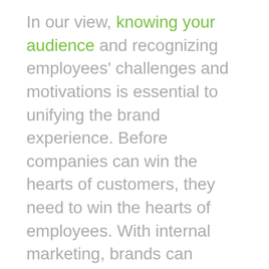In our view, knowing your audience and recognizing employees' challenges and motivations is essential to unifying the brand experience. Before companies can win the hearts of customers, they need to win the hearts of employees. With internal marketing, brands can engage employees early and develop them into authentic brand advocates.
Knowing your audience, then, is all about inquiring about the good, the bad, and the ugly across your teams. While this may seem like an intimidating process, employees will appreciate having a say. With the right questions and research, your internal marketing strategies will be successful in